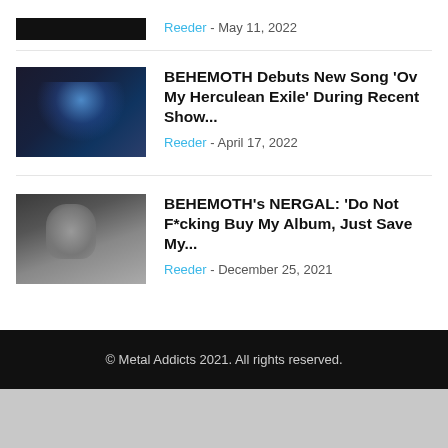[Figure (photo): Partial concert photo thumbnail at top, cropped]
Reeder - May 11, 2022
[Figure (photo): Concert photo with blue stage lighting and drummer]
BEHEMOTH Debuts New Song 'Ov My Herculean Exile' During Recent Show...
Reeder - April 17, 2022
[Figure (photo): Portrait of bald man, presumably Nergal from Behemoth]
BEHEMOTH's NERGAL: 'Do Not F*cking Buy My Album, Just Save My...
Reeder - December 25, 2021
© Metal Addicts 2021. All rights reserved.